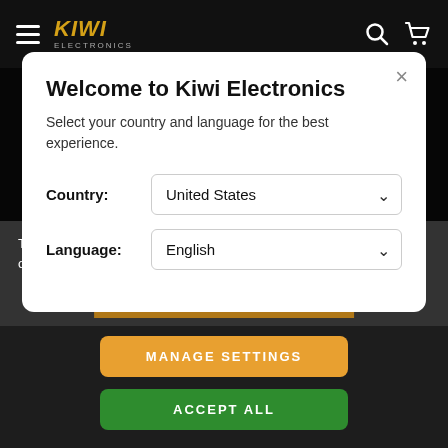[Figure (screenshot): Kiwi Electronics website navigation bar with hamburger menu icon, KIWI ELECTRONICS logo in gold/yellow italic text, search icon and cart icon on the right, on dark background]
Welcome to Kiwi Electronics
Select your country and language for the best experience.
Country: United States
Language: English
This website uses cookies to ensure you get the best experience on our website. Privacy Policy.
CONTINUE
MANAGE SETTINGS
ACCEPT ALL